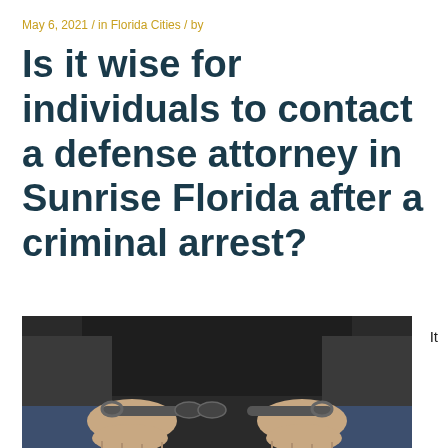May 6, 2021 / in Florida Cities / by
Is it wise for individuals to contact a defense attorney in Sunrise Florida after a criminal arrest?
[Figure (photo): Close-up photo of a person's hands handcuffed behind their back, wearing jeans and a dark jacket, against a dark background.]
It